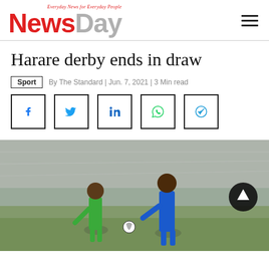NewsDay — Everyday News for Everyday People
Harare derby ends in draw
Sport | By The Standard | Jun. 7, 2021 | 3 Min read
[Figure (other): Social media sharing icons: Facebook, Twitter, LinkedIn, WhatsApp, Telegram]
[Figure (photo): Two football players competing for the ball during the Harare derby match. One player in green kit, another in blue kit, on a stadium pitch.]